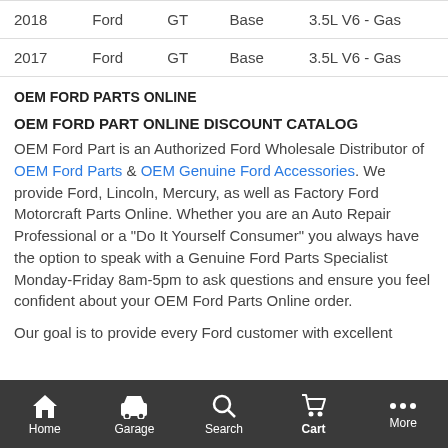| Year | Make | Model | Trim | Engine |
| --- | --- | --- | --- | --- |
| 2018 | Ford | GT | Base | 3.5L V6 - Gas |
| 2017 | Ford | GT | Base | 3.5L V6 - Gas |
OEM FORD PARTS ONLINE
OEM FORD PART ONLINE DISCOUNT CATALOG
OEM Ford Part is an Authorized Ford Wholesale Distributor of OEM Ford Parts & OEM Genuine Ford Accessories. We provide Ford, Lincoln, Mercury, as well as Factory Ford Motorcraft Parts Online. Whether you are an Auto Repair Professional or a "Do It Yourself Consumer" you always have the option to speak with a Genuine Ford Parts Specialist Monday-Friday 8am-5pm to ask questions and ensure you feel confident about your OEM Ford Parts Online order.
Our goal is to provide every Ford customer with excellent
Home  Garage  Search  Cart  More